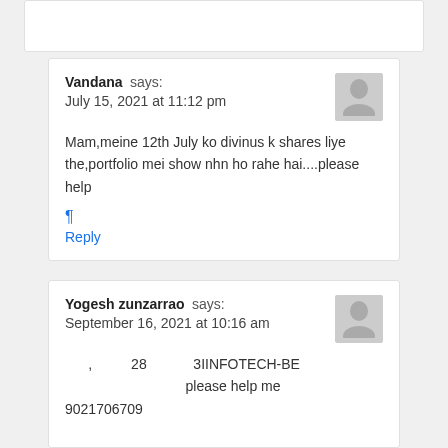Vandana says: July 15, 2021 at 11:12 pm
Mam,meine 12th July ko divinus k shares liye the,portfolio mei show nhn ho rahe hai....please help
¶
Reply
Yogesh zunzarrao says: September 16, 2021 at 10:16 am
, 28 3IINFOTECH-BE please help me
9021706709